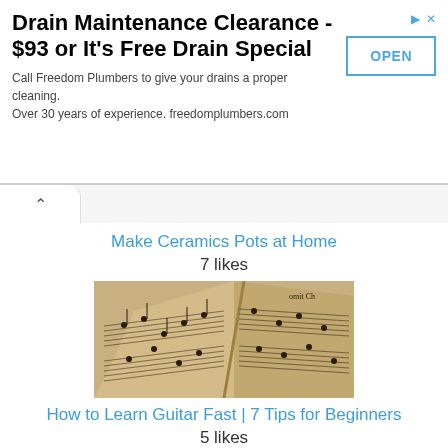[Figure (infographic): Advertisement banner for Freedom Plumbers drain maintenance service with OPEN button]
Make Ceramics Pots at Home
7 likes
[Figure (photo): Photo of open sheet music / guitar music pages]
How to Learn Guitar Fast | 7 Tips for Beginners
5 likes
[Figure (photo): Colorful blurred photo with text/keyboard elements, possibly SEO related]